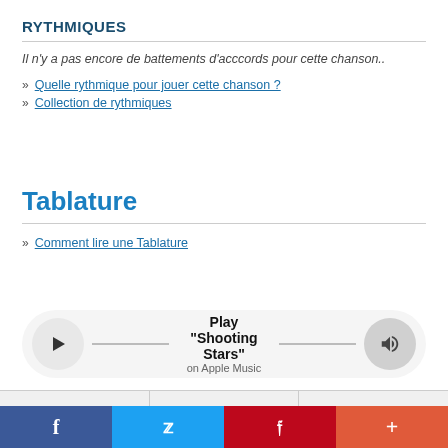RYTHMIQUES
Il n'y a pas encore de battements d'acccords pour cette chanson..
» Quelle rythmique pour jouer cette chanson ?
» Collection de rythmiques
Tablature
» Comment lire une Tablature
Play "Shooting Stars" on Apple Music
Zoom A- | Metronome Défilement automatique